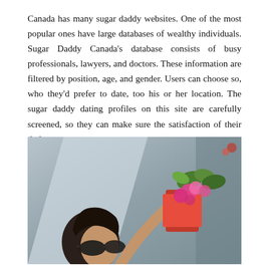Canada has many sugar daddy websites. One of the most popular ones have large databases of wealthy individuals. Sugar Daddy Canada's database consists of busy professionals, lawyers, and doctors. These information are filtered by position, age, and gender. Users can choose so, who they'd prefer to date, too his or her location. The sugar daddy dating profiles on this site are carefully screened, so they can make sure the satisfaction of their dude.
[Figure (photo): A woman with dark sunglasses looking upward, holding a red bag/pot with pink flowers and green leaves against a light grey concrete wall background. Artistic, moody photograph.]